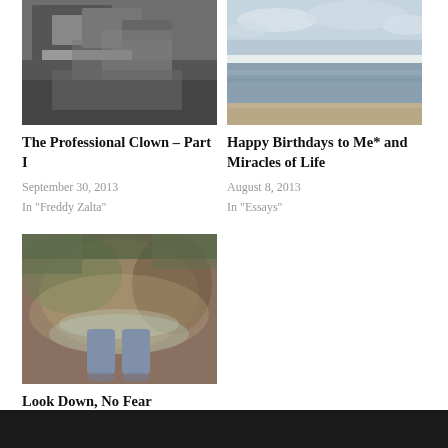[Figure (photo): Black and white photo of a clown or performer with equipment]
The Professional Clown – Part I
September 30, 2013
In "Freddy Zalta"
[Figure (photo): Photo of a beach with ocean and cloudy sky]
Happy Birthdays to Me* and Miracles of Life
August 8, 2013
In "Essays"
[Figure (photo): Photo looking down at feet reflected in water with colorful surroundings]
Look Down, No Fear
June 10, 2022
In "Flash Fiction"